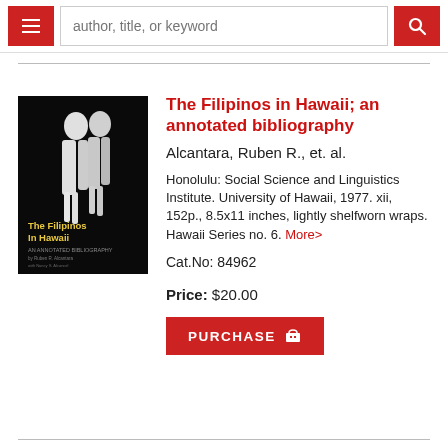author, title, or keyword
[Figure (photo): Book cover of 'The Filipinos In Hawaii: An Annotated Bibliography' — dark/black cover with white figures and yellow title text]
The Filipinos in Hawaii; an annotated bibliography
Alcantara, Ruben R., et. al.
Honolulu: Social Science and Linguistics Institute. University of Hawaii, 1977. xii, 152p., 8.5x11 inches, lightly shelfworn wraps. Hawaii Series no. 6. More>
Cat.No: 84962
Price: $20.00
PURCHASE